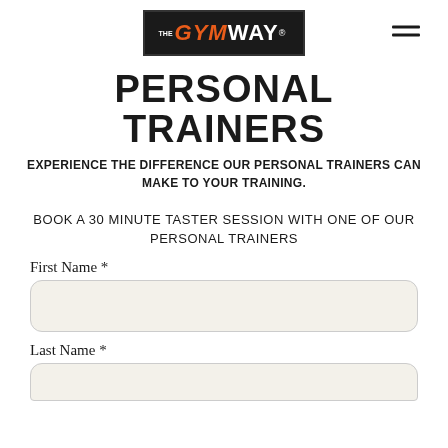[Figure (logo): The GymWay logo — black background with 'GYM' in orange italic bold text and 'WAY' in white bold text, with 'THE' superscript in white and registered trademark symbol]
PERSONAL TRAINERS
EXPERIENCE THE DIFFERENCE OUR PERSONAL TRAINERS CAN MAKE TO YOUR TRAINING.
BOOK A 30 MINUTE TASTER SESSION WITH ONE OF OUR PERSONAL TRAINERS
First Name *
Last Name *